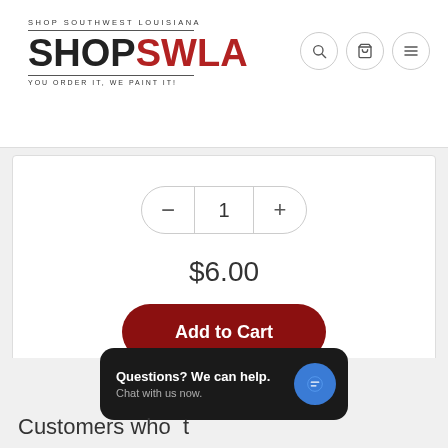[Figure (logo): ShopSWLA logo with text SHOP SOUTHWEST LOUISIANA above and YOU ORDER IT, WE PAINT IT! below, horizontal lines decorating the logo]
[Figure (infographic): Header navigation icons: search (magnifying glass), cart (shopping cart), and hamburger menu]
[Figure (infographic): Quantity selector control with minus and plus buttons and value 1 in the middle]
$6.00
[Figure (infographic): Add to Cart button, dark red rounded button]
[Figure (infographic): Social sharing icons: Facebook, Twitter, Google+, Pinterest - all in grey]
[Figure (infographic): Chat widget popup with text 'Questions? We can help. Chat with us now.' and a blue chat icon]
Customers who...t